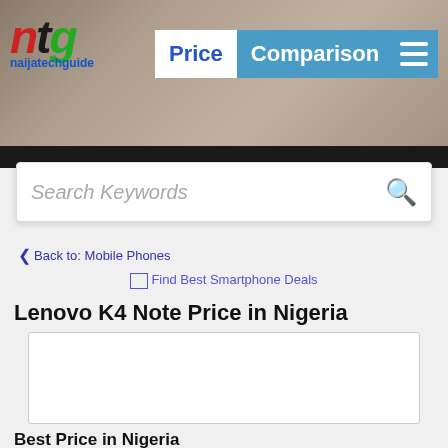[Figure (screenshot): NTG naijatechguide Price Comparison website header banner with logo and hamburger menu]
Search Keywords
< Back to: Mobile Phones
Find Best Smartphone Deals
Lenovo K4 Note Price in Nigeria
[Figure (other): Advertisement or content placeholder box]
Best Price in Nigeria